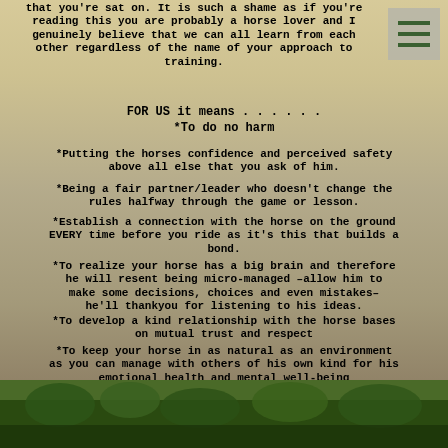that you're sat on. It is such a shame as if you're reading this you are probably a horse lover and I genuinely believe that we can all learn from each other regardless of the name of your approach to training.
FOR US it means . . . . . .
*To do no harm
*Putting the horses confidence and perceived safety above all else that you ask of him.
*Being a fair partner/leader who doesn't change the rules halfway through the game or lesson.
*Establish a connection with the horse on the ground EVERY time before you ride as it's this that builds a bond.
*To realize your horse has a big brain and therefore he will resent being micro-managed –allow him to make some decisions, choices and even mistakes– he'll thankyou for listening to his ideas.
*To develop a kind relationship with the horse bases on mutual trust and respect
*To keep your horse in as natural as an environment as you can manage with others of his own kind for his emotional health and mental well-being
It's never hard to spot a truly happy horse, as their behaviour and body language reveal all if you take the time to really look :)
[Figure (photo): Green outdoor photo at the bottom of the page showing trees and grass in a natural setting]